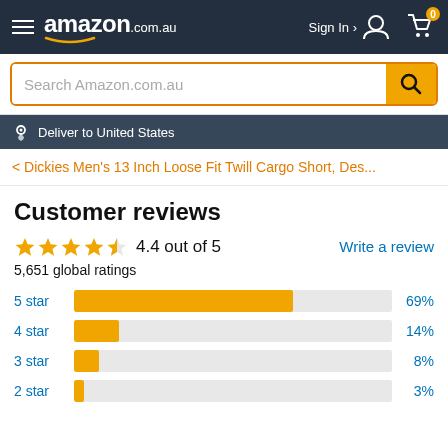[Figure (screenshot): Amazon.com.au navigation bar with hamburger menu, Amazon logo, Sign In button, and cart icon showing 0 items]
[Figure (screenshot): Search bar with 'Search Amazon.com.au' placeholder and orange search button]
[Figure (screenshot): Deliver to United States location bar]
< Dickies Men's 13 Inch Loose Fit Twill Cargo Short, Des...
Customer reviews
4.4 out of 5
5,651 global ratings
Write a review
[Figure (bar-chart): Star rating distribution]